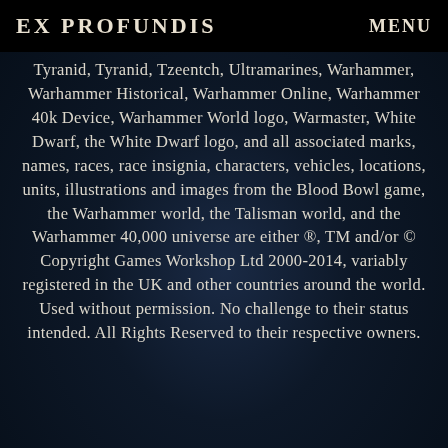EX PROFUNDIS    MENU
Tyranid, Tyranid, Tzeentch, Ultramarines, Warhammer, Warhammer Historical, Warhammer Online, Warhammer 40k Device, Warhammer World logo, Warmaster, White Dwarf, the White Dwarf logo, and all associated marks, names, races, race insignia, characters, vehicles, locations, units, illustrations and images from the Blood Bowl game, the Warhammer world, the Talisman world, and the Warhammer 40,000 universe are either ®, TM and/or © Copyright Games Workshop Ltd 2000-2014, variably registered in the UK and other countries around the world. Used without permission. No challenge to their status intended. All Rights Reserved to their respective owners.